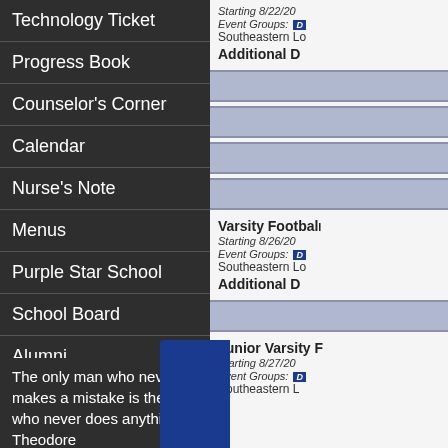Technology Ticket
Progress Book
Counselor's Corner
Calendar
Nurse's Note
Menus
Purple Star School
School Board
Alumni
The only man who never makes a mistake is the man who never does anything. -Theodore
Starting 8/22/20
Event Groups: D
Southeastern Lo
Additional D
Varsity Football
Starting 8/26/20
Event Groups: D
Southeastern Lo
Additional D
Junior Varsity F
Starting 8/27/20
Event Groups: D
Southeastern L